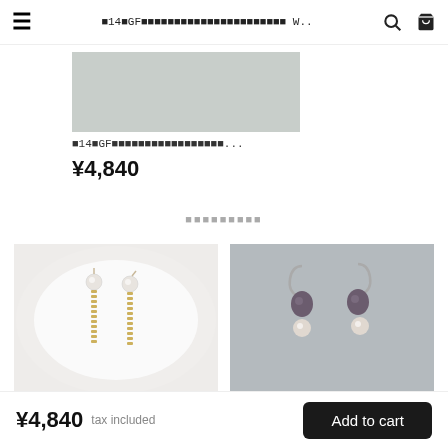≡  ■14■GF■■■■■■■■■■■■■■■■■■■■■■■■ W..  🔍  🛒
[Figure (photo): Product thumbnail image placeholder (gray rectangle)]
■14■GF■■■■■■■■■■■■■■■■...
¥4,840
■■■■■■■■■
[Figure (photo): Photo of gold chain drop earrings with pearl tops on a white plate]
[Figure (photo): Photo of silver hook earrings with dark and light pearl drops on gray background]
¥4,840  tax included      Add to cart